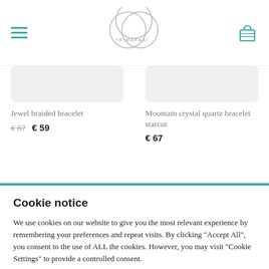TRIMAKASI logo with hamburger menu and cart icon
Jewel braided bracelet €67 €59
Mountain crystal quartz bracelet starcut €67
Cookie notice
We use cookies on our website to give you the most relevant experience by remembering your preferences and repeat visits. By clicking "Accept All", you consent to the use of ALL the cookies. However, you may visit "Cookie Settings" to provide a controlled consent.
Settings  Reject  Accept All